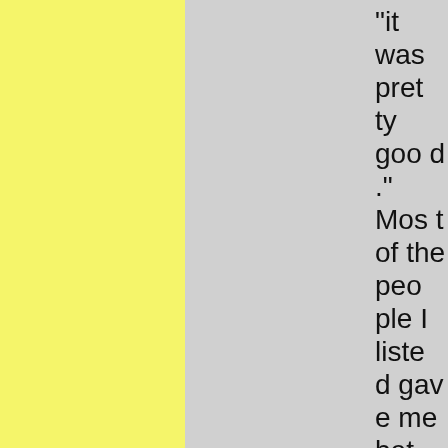"it was pretty good ." Most of the people I listed gave me between five and ten